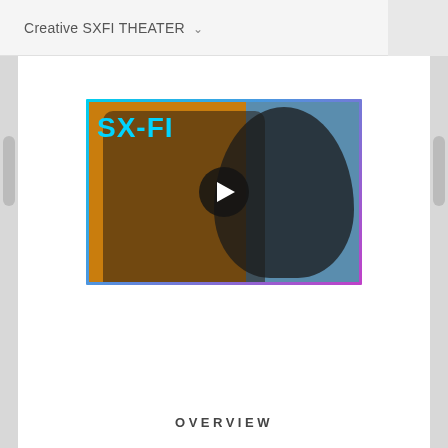Creative SXFI THEATER
[Figure (screenshot): Video thumbnail for SX-FI headphones review. Shows a person holding large over-ear headphones toward the camera against an orange and blue background. The text 'SX-FI' appears in cyan on the left. A play button is centered on the thumbnail. The thumbnail has a colorful purple/pink gradient border.]
OVERVIEW